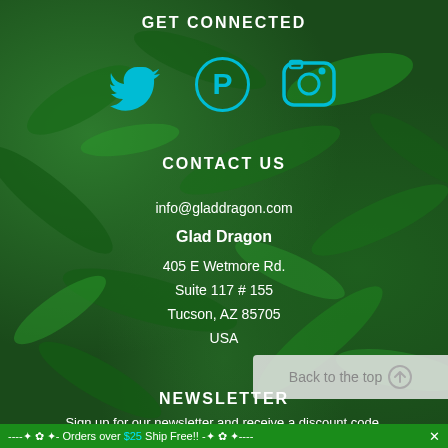GET CONNECTED
[Figure (illustration): Three social media icons: Twitter bird (cyan), Pinterest P (cyan), Instagram camera (cyan)]
CONTACT US
info@gladdragon.com
Glad Dragon
405 E Wetmore Rd.
Suite 117 # 155
Tucson, AZ 85705
USA
NEWSLETTER
Sign up for our newsletter and receive a discount code.
----✦ ✿ ✦- Orders over $25 Ship Free!! -✦ ✿ ✦---- ✕